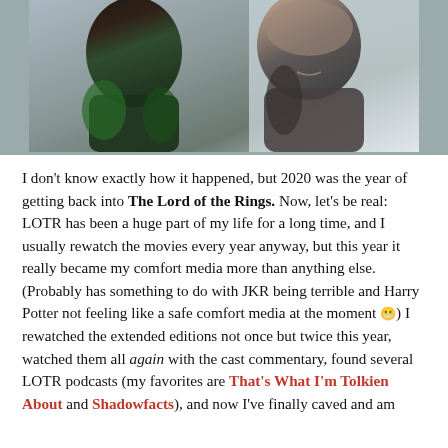[Figure (photo): Two women in a scene — one with braids wearing a green jacket viewed from behind on the left, one facing forward wearing a dark jacket on the right, against a light background.]
I don't know exactly how it happened, but 2020 was the year of getting back into The Lord of the Rings. Now, let's be real: LOTR has been a huge part of my life for a long time, and I usually rewatch the movies every year anyway, but this year it really became my comfort media more than anything else. (Probably has something to do with JKR being terrible and Harry Potter not feeling like a safe comfort media at the moment 😬) I rewatched the extended editions not once but twice this year, watched them all again with the cast commentary, found several LOTR podcasts (my favorites are That's What I'm Tolkien About and Shadowfacts), and now I've finally caved and am